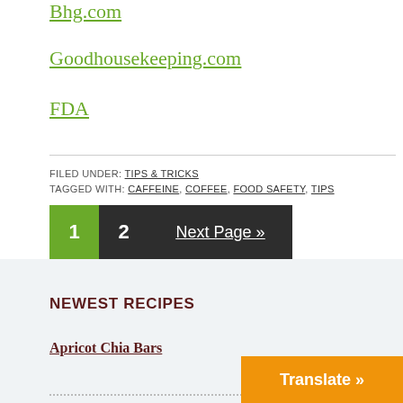Bhg.com
Goodhousekeeping.com
FDA
FILED UNDER: TIPS & TRICKS
TAGGED WITH: CAFFEINE, COFFEE, FOOD SAFETY, TIPS
1  2  Next Page »
NEWEST RECIPES
Apricot Chia Bars
Translate »